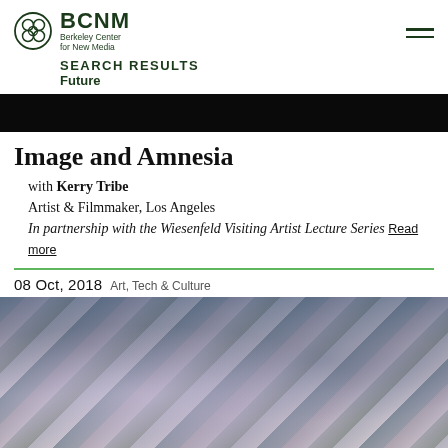BCNM Berkeley Center for New Media
SEARCH RESULTS
Future
[Figure (photo): Dark banner/header image strip, nearly black]
Image and Amnesia
with Kerry Tribe
Artist & Filmmaker, Los Angeles
In partnership with the Wiesenfeld Visiting Artist Lecture Series Read more
08 Oct, 2018  Art, Tech & Culture
[Figure (photo): Photography of crumpled reflective foil/fabric material in a room, blue and silver tones]